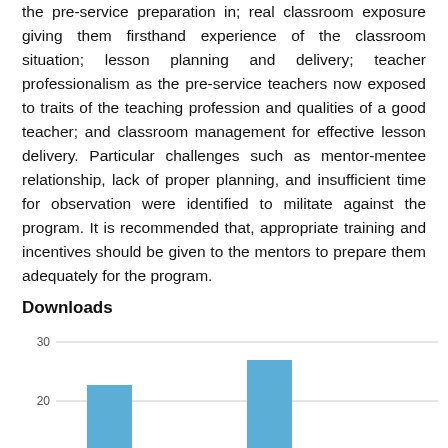the pre-service preparation in; real classroom exposure giving them firsthand experience of the classroom situation; lesson planning and delivery; teacher professionalism as the pre-service teachers now exposed to traits of the teaching profession and qualities of a good teacher; and classroom management for effective lesson delivery. Particular challenges such as mentor-mentee relationship, lack of proper planning, and insufficient time for observation were identified to militate against the program. It is recommended that, appropriate training and incentives should be given to the mentors to prepare them adequately for the program.
Downloads
[Figure (bar-chart): Downloads]